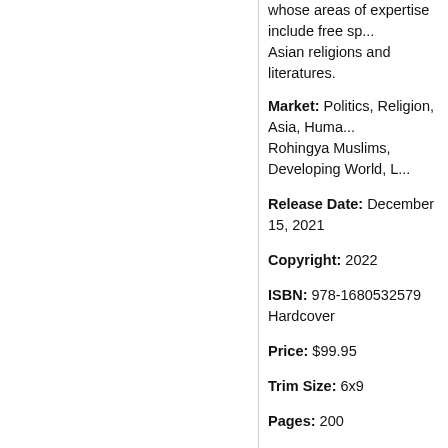whose areas of expertise include free sp... Asian religions and literatures.
Market: Politics, Religion, Asia, Huma... Rohingya Muslims, Developing World, L...
Release Date: December 15, 2021
Copyright: 2022
ISBN: 978-1680532579 Hardcover
Price: $99.95
Trim Size: 6x9
Pages: 200
Illustrations: None
Yes
Publisher:
ACADEMICA PRESS
1727 Massachusetts Avenue, NW, Suite...
Washington, DC 20036